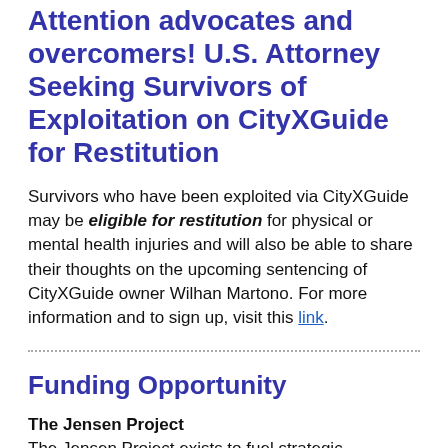Attention advocates and overcomers! U.S. Attorney Seeking Survivors of Exploitation on CityXGuide for Restitution
Survivors who have been exploited via CityXGuide may be eligible for restitution for physical or mental health injuries and will also be able to share their thoughts on the upcoming sentencing of CityXGuide owner Wilhan Martono. For more information and to sign up, visit this link.
Funding Opportunity
The Jensen Project
The Jensen Project exists to fuel strategic partnerships in the fight against sexual violence through funding and other resources to